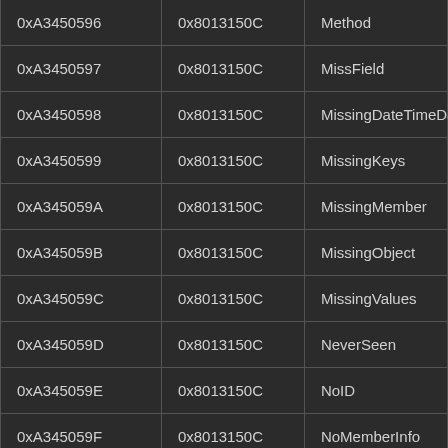| 0xA3450596 | 0x8013150C | Method |
| 0xA3450597 | 0x8013150C | MissField |
| 0xA3450598 | 0x8013150C | MissingDateTimeData |
| 0xA3450599 | 0x8013150C | MissingKeys |
| 0xA345059A | 0x8013150C | MissingMember |
| 0xA345059B | 0x8013150C | MissingObject |
| 0xA345059C | 0x8013150C | MissingValues |
| 0xA345059D | 0x8013150C | NeverSeen |
| 0xA345059E | 0x8013150C | NoID |
| 0xA345059F | 0x8013150C | NoMemberInfo |